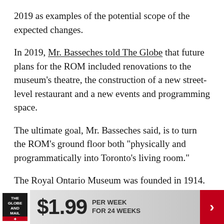2019 as examples of the potential scope of the expected changes.
In 2019, Mr. Basseches told The Globe that future plans for the ROM included renovations to the museum's theatre, the construction of a new street-level restaurant and a new events and programming space.
The ultimate goal, Mr. Basseches said, is to turn the ROM’s ground floor both “physically and programmatically into Toronto’s living room.”
The Royal Ontario Museum was founded in 1914. Its last major expansion happened nearly two decades
[Figure (infographic): The Globe and Mail subscription advertisement banner: logo on left, $1.99 per week for 24 weeks offer, red arrow on right]